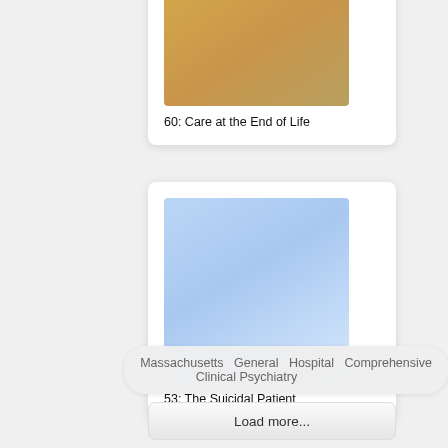[Figure (illustration): Book cover thumbnail with golden/tan gradient background for chapter 60]
60: Care at the End of Life
[Figure (illustration): Book cover thumbnail with light blue gradient background for chapter 53]
53: The Suicidal Patient
Massachusetts  General  Hospital  Comprehensive Clinical Psychiatry
Load more...